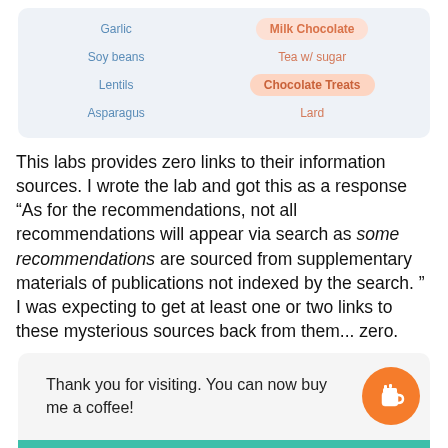[Figure (infographic): Two columns of food items: left column (blue text) shows Garlic, Soy beans, Lentils, Asparagus; right column (orange/pink highlighted) shows Milk Chocolate, Tea w/ sugar, Chocolate Treats, Lard]
This labs provides zero links to their information sources. I wrote the lab and got this as a response “As for the recommendations, not all recommendations will appear via search as some recommendations are sourced from supplementary materials of publications not indexed by the search. ” I was expecting to get at least one or two links to these mysterious sources back from them... zero.
Thank you for visiting. You can now buy me a coffee!